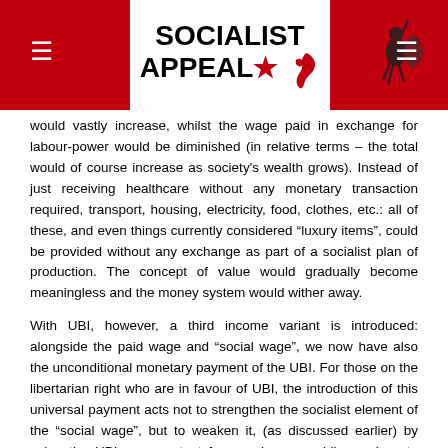Socialist Appeal
would vastly increase, whilst the wage paid in exchange for labour-power would be diminished (in relative terms – the total would of course increase as society's wealth grows). Instead of just receiving healthcare without any monetary transaction required, transport, housing, electricity, food, clothes, etc.: all of these, and even things currently considered “luxury items”, could be provided without any exchange as part of a socialist plan of production. The concept of value would gradually become meaningless and the money system would wither away.
With UBI, however, a third income variant is introduced: alongside the paid wage and “social wage”, we now have also the unconditional monetary payment of the UBI. For those on the libertarian right who are in favour of UBI, the introduction of this universal payment acts not to strengthen the socialist element of the “social wage”, but to weaken it, (as discussed earlier) by using the UBI as a pretext for opening up public services to privatisation.
Similarly, the introduction of UBI might also be used to justify the elimination of important reforms such as the minimum wage,